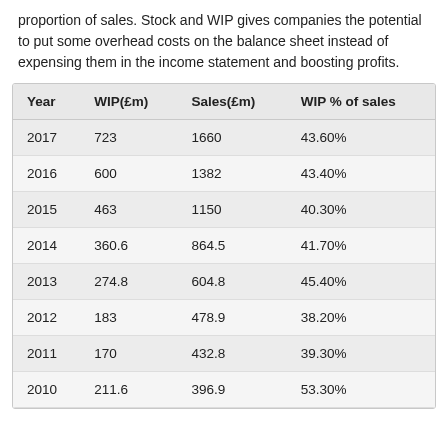proportion of sales. Stock and WIP gives companies the potential to put some overhead costs on the balance sheet instead of expensing them in the income statement and boosting profits.
| Year | WIP(£m) | Sales(£m) | WIP % of sales |
| --- | --- | --- | --- |
| 2017 | 723 | 1660 | 43.60% |
| 2016 | 600 | 1382 | 43.40% |
| 2015 | 463 | 1150 | 40.30% |
| 2014 | 360.6 | 864.5 | 41.70% |
| 2013 | 274.8 | 604.8 | 45.40% |
| 2012 | 183 | 478.9 | 38.20% |
| 2011 | 170 | 432.8 | 39.30% |
| 2010 | 211.6 | 396.9 | 53.30% |